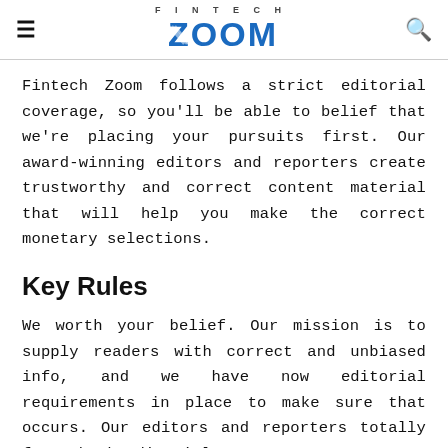FINTECH ZOOM
Fintech Zoom follows a strict editorial coverage, so you'll be able to belief that we're placing your pursuits first. Our award-winning editors and reporters create trustworthy and correct content material that will help you make the correct monetary selections.
Key Rules
We worth your belief. Our mission is to supply readers with correct and unbiased info, and we have now editorial requirements in place to make sure that occurs. Our editors and reporters totally fact-check editorial content